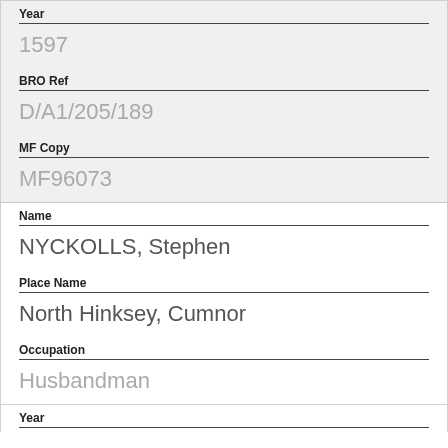Year
1597
BRO Ref
D/A1/205/189
MF Copy
MF96073
Name
NYCKOLLS, Stephen
Place Name
North Hinksey, Cumnor
Occupation
Husbandman
Year